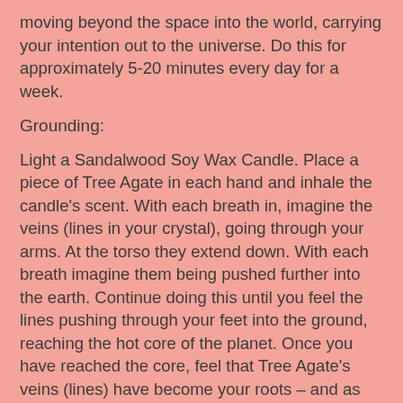moving beyond the space into the world, carrying your intention out to the universe. Do this for approximately 5-20 minutes every day for a week.
Grounding:
Light a Sandalwood Soy Wax Candle. Place a piece of Tree Agate in each hand and inhale the candle's scent. With each breath in, imagine the veins (lines in your crystal), going through your arms. At the torso they extend down. With each breath imagine them being pushed further into the earth. Continue doing this until you feel the lines pushing through your feet into the ground, reaching the hot core of the planet. Once you have reached the core, feel that Tree Agate's veins (lines) have become your roots – and as you inhale, you are now pulling earth energy up to your body. The energy shoots up through your roots into your body and you feel firmly planted in the earth. You are breathing in deep green energy, and your body feels alive and strong. This flow of earth energy should continue for at least 5 minutes. Once you feel well and balanced, you can start slowly moving your hands, feet, and body. You should feel grounded and balanced